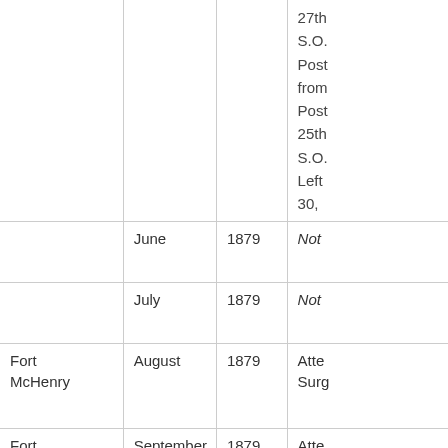| Location | Month | Year | Remarks |
| --- | --- | --- | --- |
|  |  |  | 27th
S.O.
Post
from
Post
25th
S.O.
Left
30, |
|  | June | 1879 | Not |
|  | July | 1879 | Not |
| Fort McHenry | August | 1879 | Atte
Surg |
| Fort McHenry | September | 1879 | Atte
Surg |
| Fort | October | 1879 | Atte |